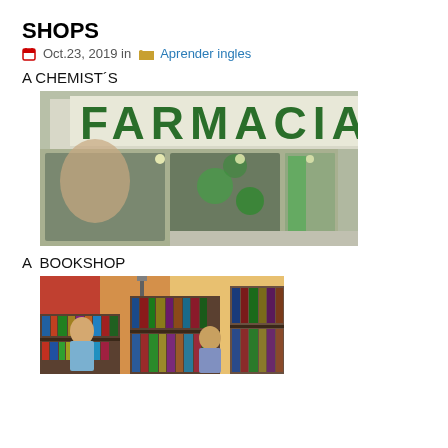SHOPS
Oct.23, 2019 in  Aprender ingles
A CHEMIST´S
[Figure (photo): Photo of a pharmacy storefront with large green FARMACIA sign above the entrance]
A  BOOKSHOP
[Figure (photo): Photo of interior of a bookshop with shelves of books and two people browsing]